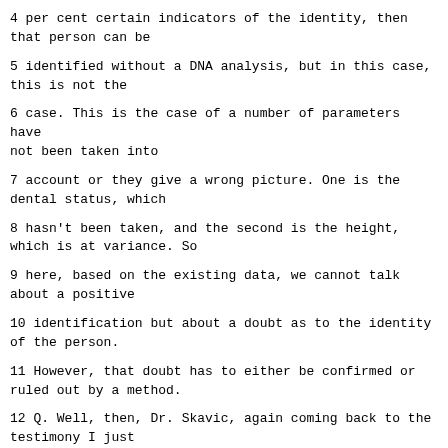4 per cent certain indicators of the identity, then that person can be
5 identified without a DNA analysis, but in this case, this is not the
6 case. This is the case of a number of parameters have not been taken into
7 account or they give a wrong picture. One is the dental status, which
8 hasn't been taken, and the second is the height, which is at variance. So
9 here, based on the existing data, we cannot talk about a positive
10 identification but about a doubt as to the identity of the person.
11 However, that doubt has to either be confirmed or ruled out by a method.
12 Q. Well, then, Dr. Skavic, again coming back to the testimony I just
13 read, if the family member, if a family told you that their missing